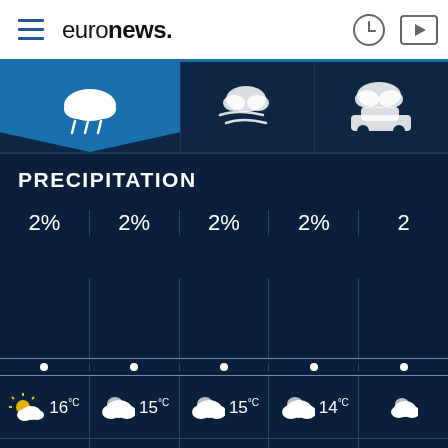euronews.
[Figure (infographic): Weather app tabs: precipitation (active/selected), wind, and road conditions icons]
PRECIPITATION
[Figure (infographic): Weather forecast grid showing precipitation percentage 2% for times 20:00, 21:00, 22:00, 23:00, 0; weather icons and temperatures: 16°C partly cloudy at 20:00, 15°C partly cloudy at 21:00, 15°C cloudy at 22:00, 14°C cloudy at 23:00]
| 20:00 | 21:00 | 22:00 | 23:00 | 0 |
| --- | --- | --- | --- | --- |
| 2% | 2% | 2% | 2% | 2 |
| 16°C | 15°C | 15°C | 14°C | — |